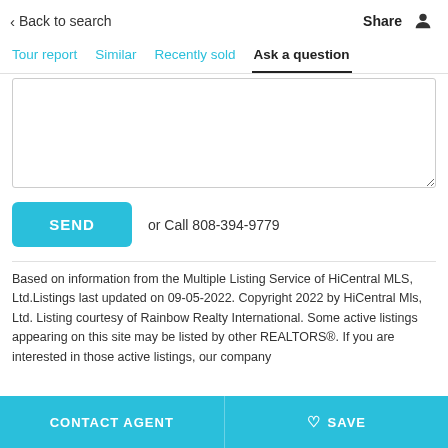Back to search   Share
Tour report   Similar   Recently sold   Ask a question
or Call 808-394-9779
Based on information from the Multiple Listing Service of HiCentral MLS, Ltd.Listings last updated on 09-05-2022. Copyright 2022 by HiCentral Mls, Ltd. Listing courtesy of Rainbow Realty International. Some active listings appearing on this site may be listed by other REALTORS®. If you are interested in those active listings, our company
CONTACT AGENT   SAVE